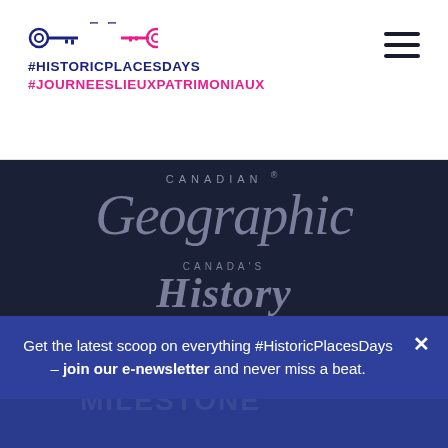[Figure (logo): Historic Places Days / Journées Lieux Patrimoniaux logo with key icons in navy and pink, hashtags below]
[Figure (logo): Canadian Geographic logo in grey italic serif font on dark navy background]
[Figure (logo): Canada's History logo in grey italic serif font on dark navy background]
PROMOTIONAL PARTNERS
Get the latest scoop on everything #HistoricPlacesDays – join our e-newsletter and never miss a beat.